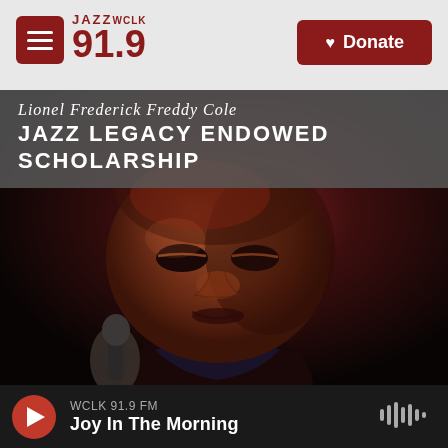JAZZ WCLK 91.9
[Figure (logo): Jazz WCLK 91.9 radio station logo in dark red/maroon color]
[Figure (other): Donate button with heart icon, dark red background]
[Figure (photo): Lionel Frederick Freddy Cole Jazz Legacy Endowed Scholarship banner over a dark photo of Freddy Cole performing, close-up portrait of an elderly man at a microphone with eyes closed]
WCLK 91.9 FM  Joy In The Morning